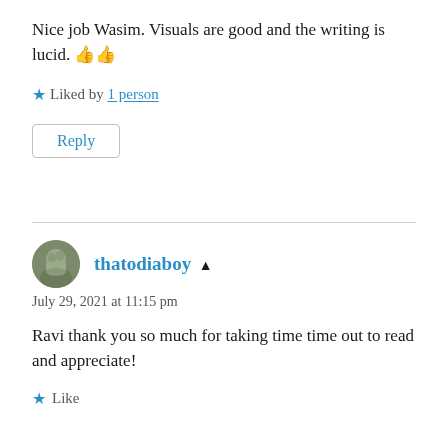Nice job Wasim. Visuals are good and the writing is lucid. 👍👍
★ Liked by 1 person
Reply
thatodiaboy ▲ July 29, 2021 at 11:15 pm
Ravi thank you so much for taking time time out to read and appreciate!
★ Like